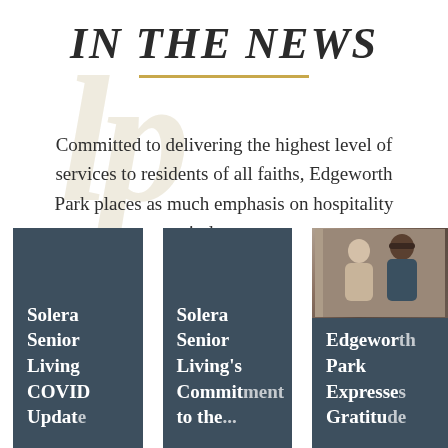IN THE NEWS
Committed to delivering the highest level of services to residents of all faiths, Edgeworth Park places as much emphasis on hospitality as it does care.
[Figure (illustration): Three news article cards with dark blue-gray background. Card 1: 'Solera Senior Living COVID Update'. Card 2: 'Solera Senior Living's Commitment to the...'. Card 3: Photo of people at top with 'Edgeworth Park Expresses Gratitude...' text below.]